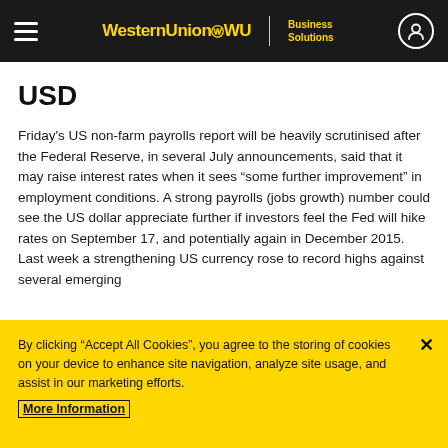WesternUnion WU | Business Solutions
USD
Friday's US non-farm payrolls report will be heavily scrutinised after the Federal Reserve, in several July announcements, said that it may raise interest rates when it sees “some further improvement” in employment conditions. A strong payrolls (jobs growth) number could see the US dollar appreciate further if investors feel the Fed will hike rates on September 17, and potentially again in December 2015. Last week a strengthening US currency rose to record highs against several emerging
By clicking “Accept All Cookies”, you agree to the storing of cookies on your device to enhance site navigation, analyze site usage, and assist in our marketing efforts. More Information